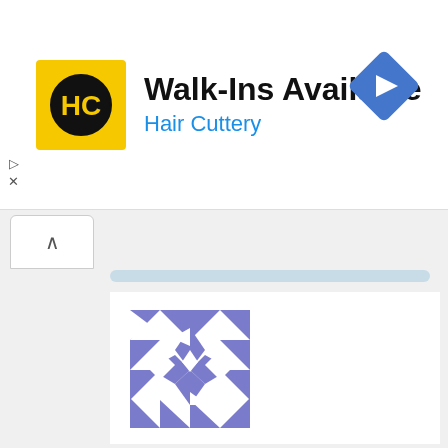[Figure (logo): Hair Cuttery logo - yellow square with HC initials in black circle]
Walk-Ins Available
Hair Cuttery
[Figure (illustration): Blue diamond-shaped navigation/directions icon with white right-arrow]
[Figure (illustration): Purple geometric kaleidoscope avatar image for user Factual thinking]
Factual thinking | January 16, 2022 at 8:37 am | Reply
And we are supposed to believe this cause the scientists billions of years ago left that knowledge for yall to study and compare to 150 years of current study?